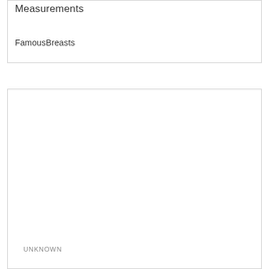Measurements
FamousBreasts
[Figure (other): Large empty white box with border, labeled UNKNOWN at the bottom left]
UNKNOWN